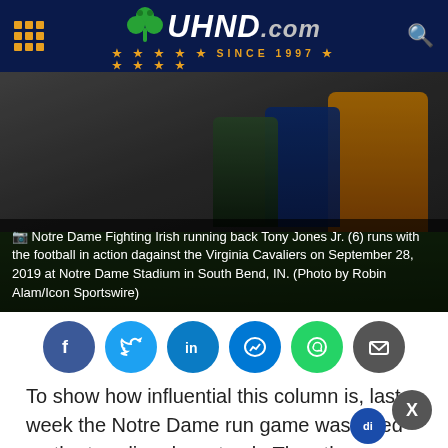UHND.com — Since 1997
[Figure (photo): Notre Dame Fighting Irish running back Tony Jones Jr. (6) runs with football against Virginia Cavaliers]
Notre Dame Fighting Irish running back Tony Jones Jr. (6) runs with the football in action dagainst the Virginia Cavaliers on September 28, 2019 at Notre Dame Stadium in South Bend, IN. (Photo by Robin Alam/Icon Sportswire)
[Figure (infographic): Social share buttons: Facebook, Twitter, LinkedIn, Messenger, WhatsApp, Email]
To show how influential this column is, last week the Notre Dame run game was listed on the trending down track. Then they rushed for four touchdowns and bludgeoned the Cavaliers in the